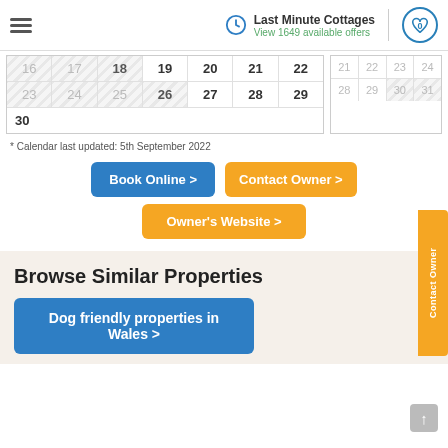Last Minute Cottages — View 1649 available offers
[Figure (screenshot): Availability calendar showing dates 16-30 for left month and 21-31 for right month, with some dates greyed out and striped to indicate unavailability]
* Calendar last updated: 5th September 2022
Book Online >
Contact Owner >
Owner's Website >
Browse Similar Properties
Dog friendly properties in Wales >